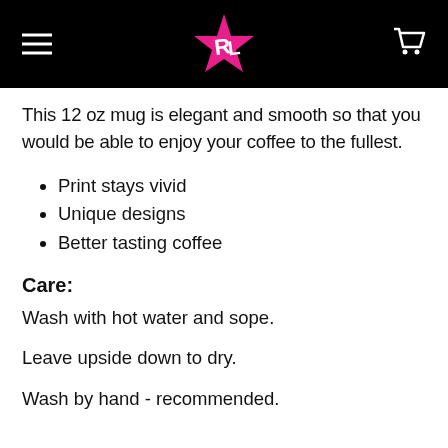RL logo navigation header
This 12 oz mug is elegant and smooth so that you would be able to enjoy your coffee to the fullest.
Print stays vivid
Unique designs
Better tasting coffee
Care:
Wash with hot water and sope.
Leave upside down to dry.
Wash by hand - recommended.